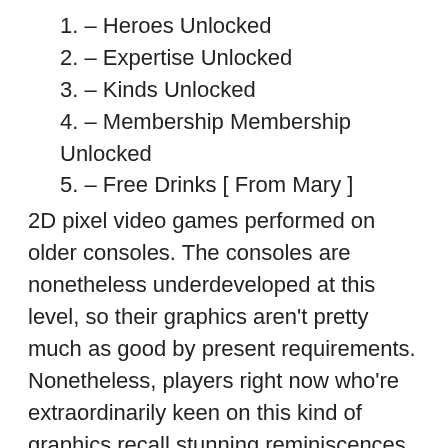1. – Heroes Unlocked
2. – Expertise Unlocked
3. – Kinds Unlocked
4. – Membership Membership Unlocked
5. – Free Drinks [ From Mary ]
2D pixel video games performed on older consoles. The consoles are nonetheless underdeveloped at this level, so their graphics aren't pretty much as good by present requirements. Nonetheless, players right now who're extraordinarily keen on this kind of graphics recall stunning reminiscences of a superb time with consoles. Otherworld Legends is a totally new recreation however makes use of this outdated graphics. Quite the opposite, it turns into